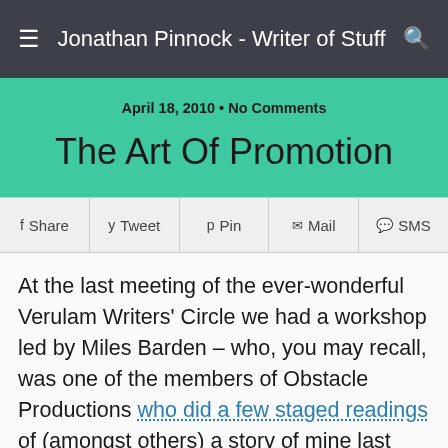Jonathan Pinnock - Writer of Stuff
April 18, 2010 • No Comments
The Art Of Promotion
Share  Tweet  Pin  Mail  SMS
At the last meeting of the ever-wonderful Verulam Writers' Circle we had a workshop led by Miles Barden – who, you may recall, was one of the members of Obstacle Productions who did a few staged readings of (amongst others) a story of mine last year. The theme of the workshop was essentially how to read your work in public without making a complete idiot